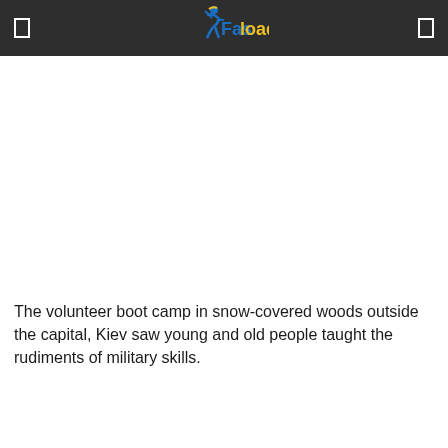Fasloaded
The volunteer boot camp in snow-covered woods outside the capital, Kiev saw young and old people taught the rudiments of military skills.